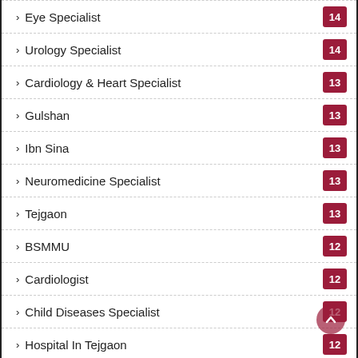Eye Specialist 14
Urology Specialist 14
Cardiology & Heart Specialist 13
Gulshan 13
Ibn Sina 13
Neuromedicine Specialist 13
Tejgaon 13
BSMMU 12
Cardiologist 12
Child Diseases Specialist 12
Hospital In Tejgaon 12
Narayanganj 12
Skin Specialist 12